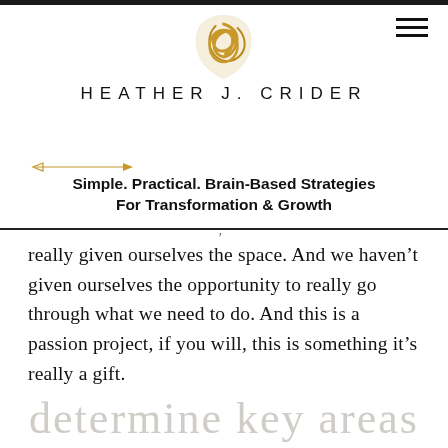HEATHER J. CRIDER
[Figure (logo): Golden geometric knot/shield logo above the site name HEATHER J. CRIDER, with a hamburger menu icon in the top right]
[Figure (illustration): Decorative arrow divider line]
Simple. Practical. Brain-Based Strategies For Transformation & Growth
really given ourselves the space. And we haven’t given ourselves the opportunity to really go through what we need to do. And this is a passion project, if you will, this is something it’s really a gift.
determine key areas